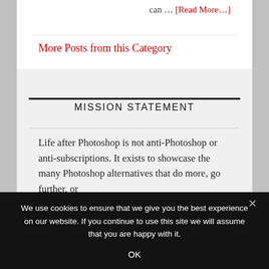can … [Read More…]
More Posts from this Category
MISSION STATEMENT
Life after Photoshop is not anti-Photoshop or anti-subscriptions. It exists to showcase the many Photoshop alternatives that do more, go further, or
We use cookies to ensure that we give you the best experience on our website. If you continue to use this site we will assume that you are happy with it.
OK